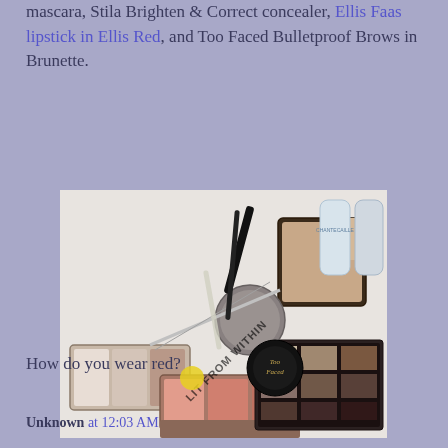mascara, Stila Brighten & Correct concealer, Ellis Faas lipstick in Ellis Red, and Too Faced Bulletproof Brows in Brunette.
[Figure (photo): Flat lay photo of various makeup products on a white surface, including mascara, concealer tubes, a compact powder, eyeshadow palette, blush palette, contour palette, brow product, and a Too Faced branded product. Watermark reads 'LIT FROM WITHIN'.]
How do you wear red?
Unknown at 12:03 AM